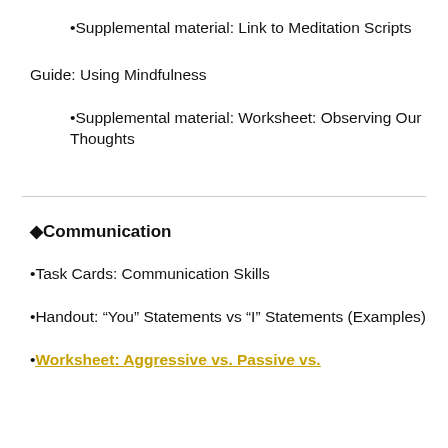Supplemental material: Link to Meditation Scripts
Guide: Using Mindfulness
Supplemental material: Worksheet: Observing Our Thoughts
♦Communication
Task Cards: Communication Skills
Handout: “You” Statements vs “I” Statements (Examples)
Worksheet: Aggressive vs. Passive vs.